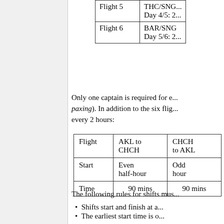|  |  |
| --- | --- |
| Flight 5 | THC/SNG...
Day 4/5: 2... |
| Flight 6 | BAR/SNG
Day 5/6: 2... |
Only one captain is required for e... paxing). In addition to the six flig... every 2 hours:
| Flight | AKL to CHCH | CHCH to AKL |
| --- | --- | --- |
| Start | Even half-hour | Odd hour |
| Time | 90 mins | 90 mins |
The following rules for shifts mus...
Shifts start and finish at a...
The earliest start time is o... hours);